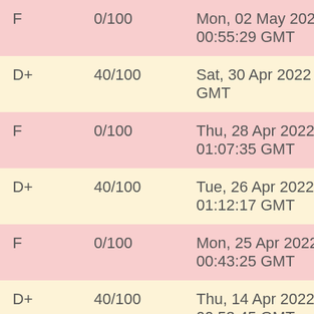| Grade | Score | Date |
| --- | --- | --- |
| F | 0/100 | Mon, 02 May 2022 00:55:29 GMT |
| D+ | 40/100 | Sat, 30 Apr 2022 01:23:37 GMT |
| F | 0/100 | Thu, 28 Apr 2022 01:07:35 GMT |
| D+ | 40/100 | Tue, 26 Apr 2022 01:12:17 GMT |
| F | 0/100 | Mon, 25 Apr 2022 00:43:25 GMT |
| D+ | 40/100 | Thu, 14 Apr 2022 00:53:45 GMT |
| F | 0/100 | Tue, 05 Apr 2022 20:38:27 GMT |
| D+ | 40/100 | Sun, 03 Apr 2022 01:04:08 GMT |